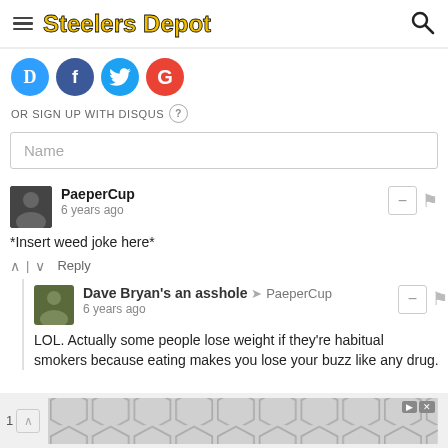Steelers Depot
[Figure (logo): Social login buttons: Disqus (D), Facebook (f), Twitter bird, Google (G)]
OR SIGN UP WITH DISQUS ?
Name
PaeperCup
6 years ago
*Insert weed joke here*
Reply
Dave Bryan's an asshole → PaeperCup
6 years ago
LOL. Actually some people lose weight if they're habitual smokers because eating makes you lose your buzz like any drug.
[Figure (infographic): Advertisement banner with geometric hexagon pattern and play/close controls]